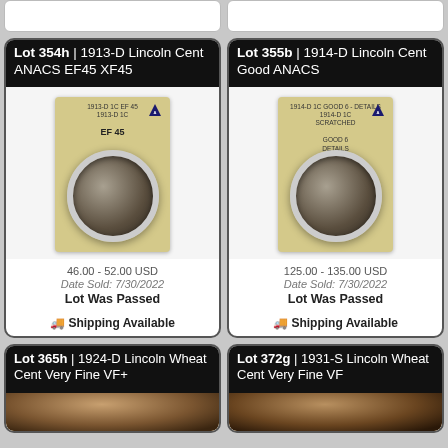[Figure (photo): Top bar placeholder strip (partial, white background)]
[Figure (photo): Top bar placeholder strip right (partial, white background)]
Lot 354h | 1913-D Lincoln Cent ANACS EF45 XF45
[Figure (photo): Photo of 1913-D Lincoln Cent in ANACS EF45 holder with gold label showing '1913-D 1C EF 45' and coin below]
46.00 - 52.00 USD
Date Sold: 7/30/2022
Lot Was Passed
🚚 Shipping Available
Lot 355b | 1914-D Lincoln Cent Good ANACS
[Figure (photo): Photo of 1914-D Lincoln Cent in ANACS Good 6 Details holder with gold label showing 'SCRATCHED' and coin below]
125.00 - 135.00 USD
Date Sold: 7/30/2022
Lot Was Passed
🚚 Shipping Available
Lot 365h | 1924-D Lincoln Wheat Cent Very Fine VF+
Lot 372g | 1931-S Lincoln Wheat Cent Very Fine VF